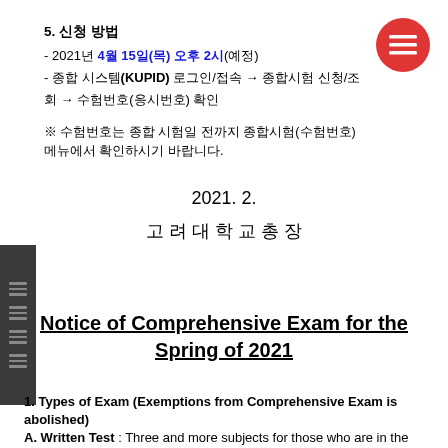5. 신청 방법
- 2021년 4월 15일(목) 오후 2시(예정)
- 종합 시스템(KUPID) 로그인/접속 → 종합시험 신청/조회 → 수험번호(응시번호) 확인
※ 수험번호는 종합 시험일 전까지 종합시험(수험번호) 메뉴에서 확인하시기 바랍니다.
2021. 2.
고 려 대 학 교 총 장
Notice of Comprehensive Exam for the Spring of 2021
1. Types of Exam (Exemptions from Comprehensive Exam is abolished)
A. Written Test : Three and more subjects for those who are in the